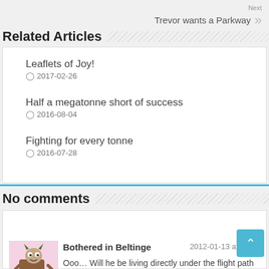Next
Trevor wants a Parkway
Related Articles
Leaflets of Joy!
2017-02-26
Half a megatonne short of success
2016-08-04
Fighting for every tonne
2016-07-28
No comments
Bothered in Beltinge   2012-01-13 at 07:24
Ooo… Will he be living directly under the flight path so he can experience first hand the joy of being rudely awaken by night flights?? No??? Hmmm, thought not.